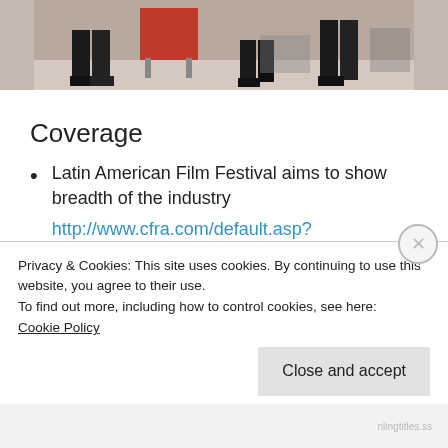[Figure (photo): Partial photo of chairs and people's legs in a room; a red chair is visible in the center]
Coverage
Latin American Film Festival aims to show breadth of the industry
http://www.cfra.com/default.asp?cat=1&nid=90434
CFI's Latin American Film Festival Ready to Heat Up Ottawa Screens
Privacy & Cookies: This site uses cookies. By continuing to use this website, you agree to their use.
To find out more, including how to control cookies, see here:
Cookie Policy
Close and accept